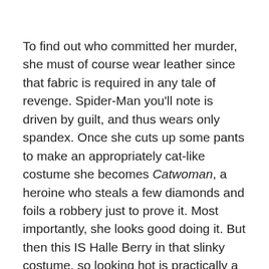To find out who committed her murder, she must of course wear leather since that fabric is required in any tale of revenge. Spider-Man you'll note is driven by guilt, and thus wears only spandex. Once she cuts up some pants to make an appropriately cat-like costume she becomes Catwoman, a heroine who steals a few diamonds and foils a robbery just to prove it. Most importantly, she looks good doing it. But then this IS Halle Berry in that slinky costume, so looking hot is practically a given. When she doesn't look good it's because she's being rendered in CGI, as she always is whenever Catwoman does anything more complicated than walking. You'd think Halle could manage to duck under a swing, but Pitof or